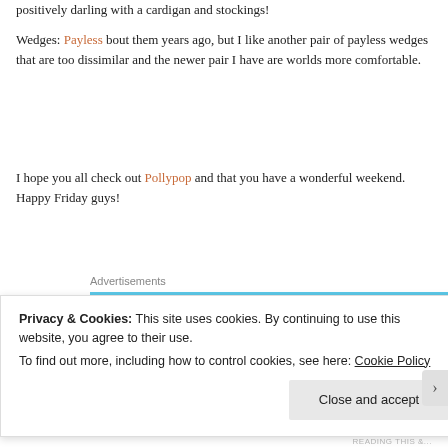positively darling with a cardigan and stockings!
Wedges: Payless bout them years ago, but I like another pair of payless wedges that are too dissimilar and the newer pair I have are worlds more comfortable.
I hope you all check out Pollypop and that you have a wonderful weekend. Happy Friday guys!
Advertisements
Privacy & Cookies: This site uses cookies. By continuing to use this website, you agree to their use.
To find out more, including how to control cookies, see here: Cookie Policy
Close and accept